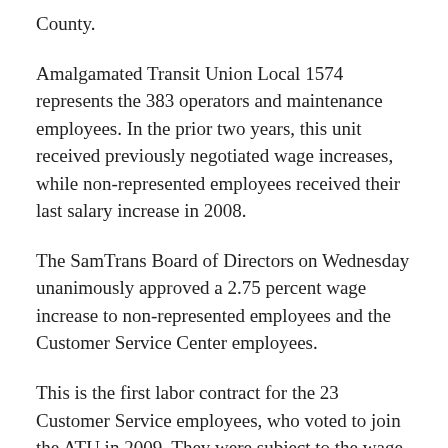County.
Amalgamated Transit Union Local 1574 represents the 383 operators and maintenance employees. In the prior two years, this unit received previously negotiated wage increases, while non-represented employees received their last salary increase in 2008.
The SamTrans Board of Directors on Wednesday unanimously approved a 2.75 percent wage increase to non-represented employees and the Customer Service Center employees.
This is the first labor contract for the 23 Customer Service employees, who voted to join the ATU in 2009. They were subject to the wage freeze affecting non-union employees.
In another negotiation with Teamsters Local 856, which represents bus transportation supervisors and bus contract inspectors, a tentative agreement has been reached. A